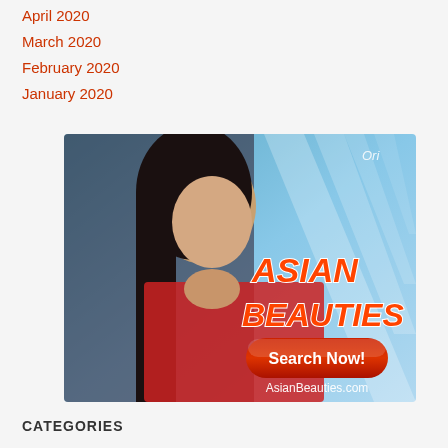April 2020
March 2020
February 2020
January 2020
[Figure (advertisement): Asian Beauties dating site advertisement featuring a woman with text 'ASIAN BEAUTIES', a red 'Search Now!' button, and AsianBeauties.com URL]
CATEGORIES